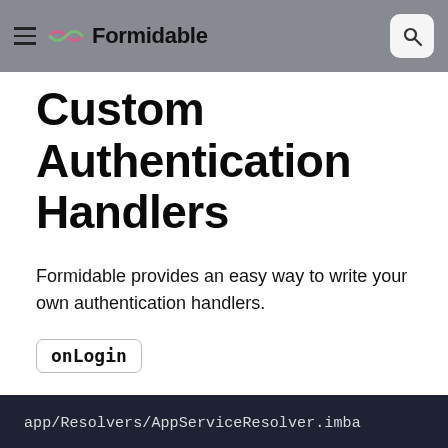Formidable
Custom Authentication Handlers
Formidable provides an easy way to write your own authentication handlers.
onLogin
The onLogin hook is used to handle the login process:
[Figure (screenshot): Code block header showing filename: app/Resolvers/AppServiceResolver.imba]